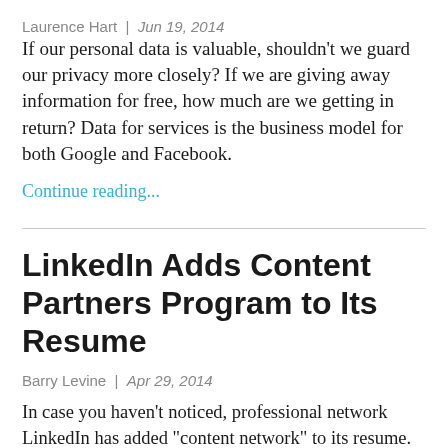Laurence Hart | Jun 19, 2014
If our personal data is valuable, shouldn't we guard our privacy more closely? If we are giving away information for free, how much are we getting in return? Data for services is the business model for both Google and Facebook.
Continue reading...
LinkedIn Adds Content Partners Program to Its Resume
Barry Levine | Apr 29, 2014
In case you haven't noticed, professional network LinkedIn has added "content network" to its resume. To beef up that credit, the site has added a partners program to help companies create sponsored content. Sponsored updates are LinkedIn native advertisements, where company created